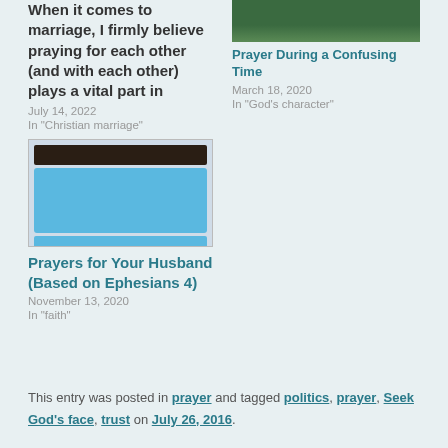When it comes to marriage, I firmly believe praying for each other (and with each other) plays a vital part in
July 14, 2022
In "Christian marriage"
[Figure (screenshot): Screenshot of a blog post or app showing chat interface with blue message bubbles and a dark header bar]
Prayer During a Confusing Time
March 18, 2020
In "God's character"
Prayers for Your Husband (Based on Ephesians 4)
November 13, 2020
In "faith"
This entry was posted in prayer and tagged politics, prayer, Seek God's face, trust on July 26, 2016.